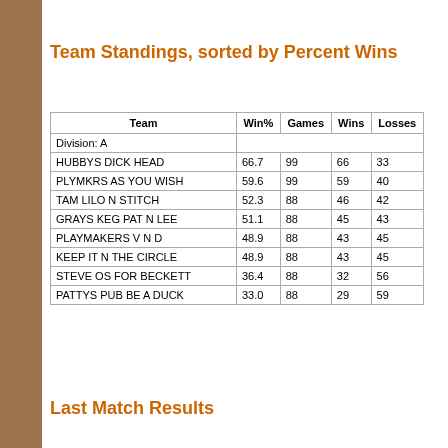Team Standings, sorted by Percent Wins
| Team | Win% | Games | Wins | Losses |
| --- | --- | --- | --- | --- |
| Division: A |  |  |  |  |
| HUBBYS DICK HEAD | 66.7 | 99 | 66 | 33 |
| PLYMKRS AS YOU WISH | 59.6 | 99 | 59 | 40 |
| TAM LILO N STITCH | 52.3 | 88 | 46 | 42 |
| GRAYS KEG PAT N LEE | 51.1 | 88 | 45 | 43 |
| PLAYMAKERS V N D | 48.9 | 88 | 43 | 45 |
| KEEP IT N THE CIRCLE | 48.9 | 88 | 43 | 45 |
| STEVE OS FOR BECKETT | 36.4 | 88 | 32 | 56 |
| PATTYS PUB BE A DUCK | 33.0 | 88 | 29 | 59 |
Last Match Results